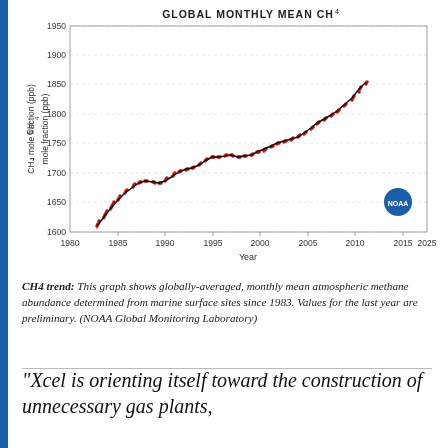[Figure (continuous-plot): Line chart with scatter points (red dots with error bars) showing globally-averaged monthly mean atmospheric methane (CH4) from 1983 to ~2023, rising from ~1620 ppb to ~1910 ppb. A black trend line overlays the red monthly data points.]
CH4 trend: This graph shows globally-averaged, monthly mean atmospheric methane abundance determined from marine surface sites since 1983. Values for the last year are preliminary. (NOAA Global Monitoring Laboratory)
“Xcel is orienting itself toward the construction of unnecessary gas plants,